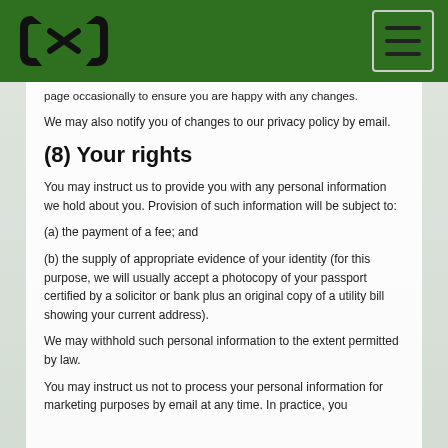[Logo] [Navigation menu button]
page occasionally to ensure you are happy with any changes.
We may also notify you of changes to our privacy policy by email.
(8) Your rights
You may instruct us to provide you with any personal information we hold about you. Provision of such information will be subject to:
(a) the payment of a fee; and
(b) the supply of appropriate evidence of your identity (for this purpose, we will usually accept a photocopy of your passport certified by a solicitor or bank plus an original copy of a utility bill showing your current address).
We may withhold such personal information to the extent permitted by law.
You may instruct us not to process your personal information for marketing purposes by email at any time. In practice, you